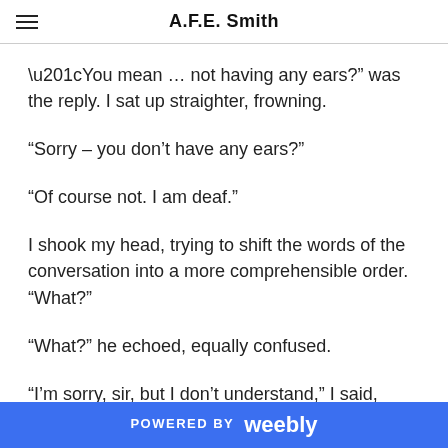A.F.E. Smith
“You mean … not having any ears?” was the reply. I sat up straighter, frowning.
“Sorry – you don’t have any ears?”
“Of course not. I am deaf.”
I shook my head, trying to shift the words of the conversation into a more comprehensible order. “What?”
“What?” he echoed, equally confused.
“I’m sorry, sir, but I don’t understand,” I said, enunciating each syllable with care. “You say you’re
POWERED BY weebly